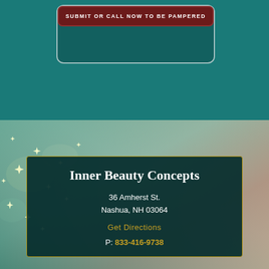SUBMIT OR CALL NOW TO BE PAMPERED
[Figure (illustration): Sparkly teal and mauve gradient background with glowing star/bokeh light effects on the left side]
Inner Beauty Concepts
36 Amherst St.
Nashua, NH 03064
Get Directions
P: 833-416-9738